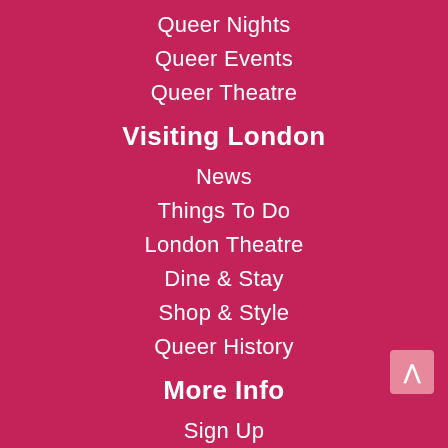Queer Nights
Queer Events
Queer Theatre
Visiting London
News
Things To Do
London Theatre
Dine & Stay
Shop & Style
Queer History
More Info
Sign Up